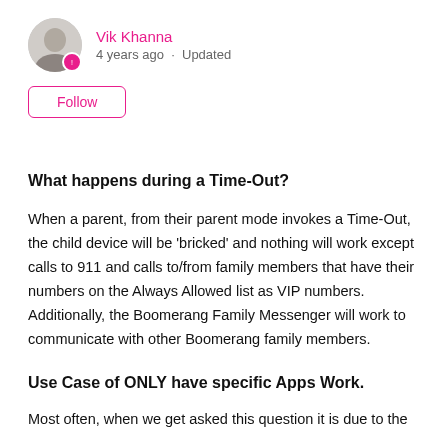Vik Khanna
4 years ago · Updated
Follow
What happens during a Time-Out?
When a parent, from their parent mode invokes a Time-Out, the child device will be 'bricked' and nothing will work except calls to 911 and calls to/from family members that have their numbers on the Always Allowed list as VIP numbers. Additionally, the Boomerang Family Messenger will work to communicate with other Boomerang family members.
Use Case of ONLY have specific Apps Work.
Most often, when we get asked this question it is due to the